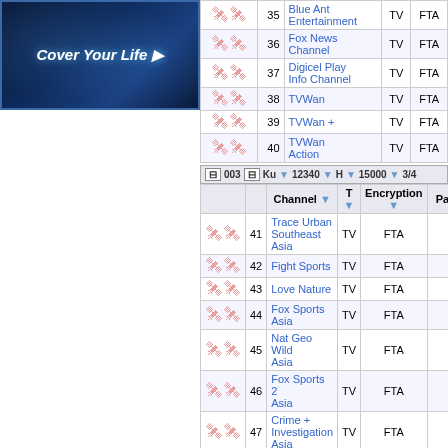[Figure (illustration): Dark blue network/tech banner image with text 'Cover Your Life']
|  |  | Channel | T | Encryption | Pac |
| --- | --- | --- | --- | --- | --- |
| icons | 35 | Blue Ant Entertainment | TV | FTA |  |
| icons | 36 | Fox News Channel | TV | FTA |  |
| icons | 37 | Digicel Play Info Channel | TV | FTA |  |
| icons | 38 | TVWan | TV | FTA |  |
| icons | 39 | TVWan + | TV | FTA |  |
| icons | 40 | TVWan Action | TV | FTA |  |
|  | 003 | Ku | 12340 | H | 15000 | 3/4 |
| --- | --- | --- | --- | --- | --- | --- |
|  |  | Channel | T | Encryption | Pac |
| --- | --- | --- | --- | --- | --- |
| icons | 41 | Trace Urban Southeast Asia | TV | FTA |  |
| icons | 42 | Fight Sports | TV | FTA |  |
| icons | 43 | Love Nature | TV | FTA |  |
| icons | 44 | Fox Sports Asia | TV | FTA |  |
| icons | 45 | Nat Geo Wild Asia | TV | FTA |  |
| icons | 46 | Fox Sports 2 Asia | TV | FTA |  |
| icons | 47 | Crime + Investigation Asia | TV | FTA |  |
| icons | 48 | Boomerang | TV | FTA |  |